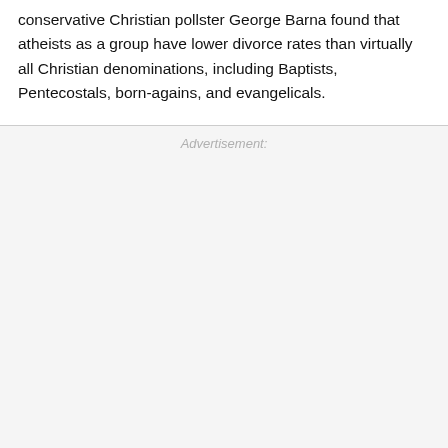conservative Christian pollster George Barna found that atheists as a group have lower divorce rates than virtually all Christian denominations, including Baptists, Pentecostals, born-agains, and evangelicals.
Advertisement: